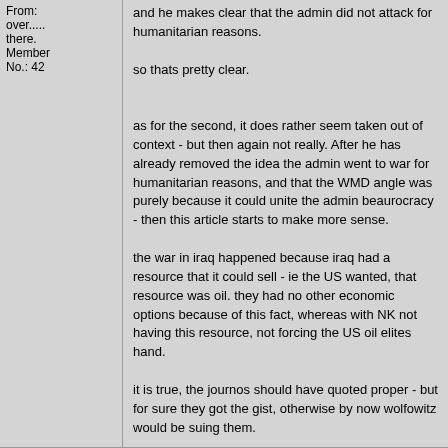and he makes clear that the admin did not attack for humanitarian reasons.

so thats pretty clear.

as for the second, it does rather seem taken out of context - but then again not really. After he has already removed the idea the admin went to war for humanitarian reasons, and that the WMD angle was purely because it could unite the admin beaurocracy - then this article starts to make more sense.

the war in iraq happened because iraq had a resource that it could sell - ie the US wanted, that resource was oil. they had no other economic options because of this fact, whereas with NK not having this resource, not forcing the US oil elites hand.

it is true, the journos should have quoted proper - but for sure they got the gist, otherwise by now wolfowitz would be suing them.
marleyfrost  Jun 5 2003, 09:10 PM  Post #5
QUOTE